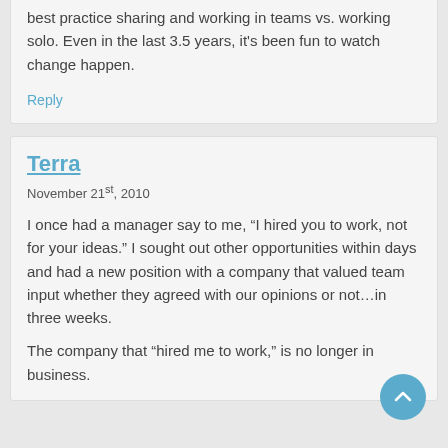best practice sharing and working in teams vs. working solo. Even in the last 3.5 years, it's been fun to watch change happen.
Reply
Terra
November 21st, 2010
I once had a manager say to me, “I hired you to work, not for your ideas.” I sought out other opportunities within days and had a new position with a company that valued team input whether they agreed with our opinions or not…in three weeks.
The company that “hired me to work,” is no longer in business.